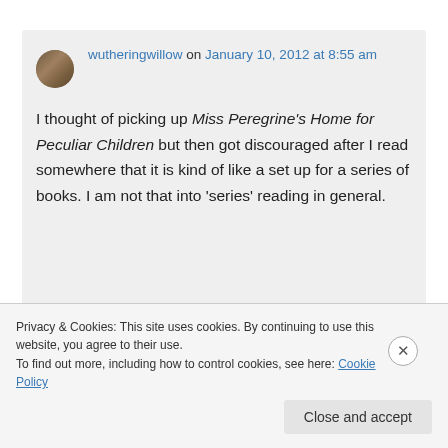wutheringwillow on January 10, 2012 at 8:55 am
I thought of picking up Miss Peregrine's Home for Peculiar Children but then got discouraged after I read somewhere that it is kind of like a set up for a series of books. I am not that into 'series' reading in general.
Privacy & Cookies: This site uses cookies. By continuing to use this website, you agree to their use. To find out more, including how to control cookies, see here: Cookie Policy
Close and accept